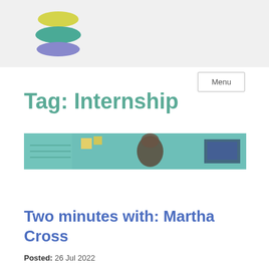[Figure (logo): Stacked oval shapes logo in yellow, teal, and lavender colors]
Menu
Tag: Internship
[Figure (photo): Photo of a person working at a desk with sticky notes and a computer screen visible]
Two minutes with: Martha Cross
Posted: 26 Jul 2022